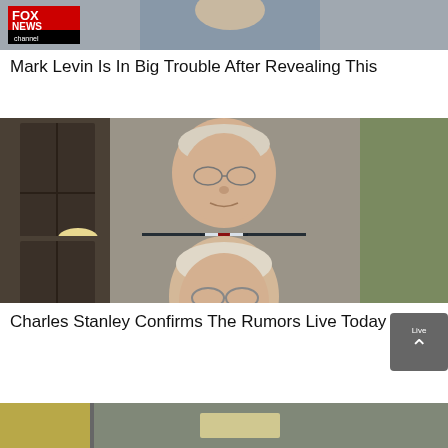[Figure (screenshot): Fox News channel thumbnail showing older man on Fox News, cropped top portion visible]
Mark Levin Is In Big Trouble After Revealing This
[Figure (screenshot): Fox News channel thumbnail showing elderly man in dark suit with red tie, Fox News channel logo in bottom left]
Charles Stanley Confirms The Rumors Live Today
[Figure (screenshot): Partial thumbnail image at bottom of page, mostly cut off]